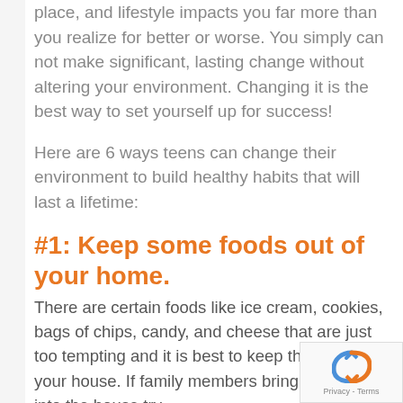place, and lifestyle impacts you far more than you realize for better or worse. You simply can not make significant, lasting change without altering your environment. Changing it is the best way to set yourself up for success!
Here are 6 ways teens can change their environment to build healthy habits that will last a lifetime:
#1: Keep some foods out of your home.
There are certain foods like ice cream, cookies, bags of chips, candy, and cheese that are just too tempting and it is best to keep them out of your house. If family members bring this stuff into the house try